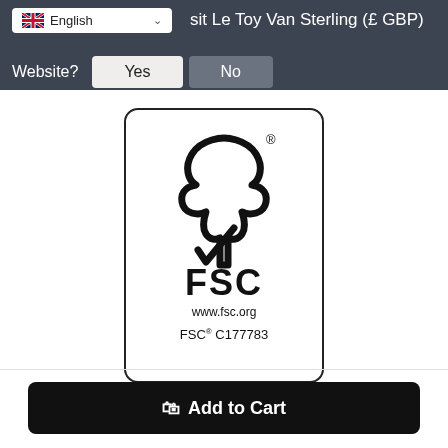English — sit Le Toy Van Sterling (£ GBP)
Website?  Yes  No
[Figure (logo): FSC certification logo: stylized tree with checkmark outline, bold text 'FSC', 'www.fsc.org', 'FSC® C177783' inside a rounded rectangle border]
The mark of responsible forestry
Add to Cart